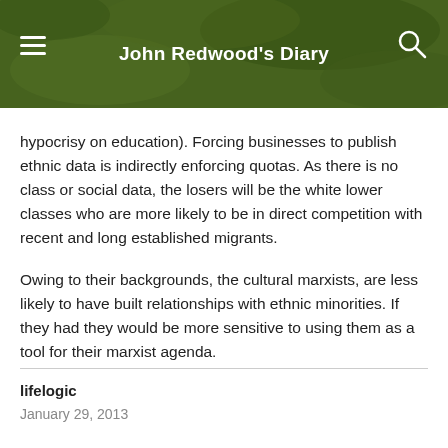John Redwood's Diary
hypocrisy on education). Forcing businesses to publish ethnic data is indirectly enforcing quotas. As there is no class or social data, the losers will be the white lower classes who are more likely to be in direct competition with recent and long established migrants.
Owing to their backgrounds, the cultural marxists, are less likely to have built relationships with ethnic minorities. If they had they would be more sensitive to using them as a tool for their marxist agenda.
lifelogic
January 29, 2013